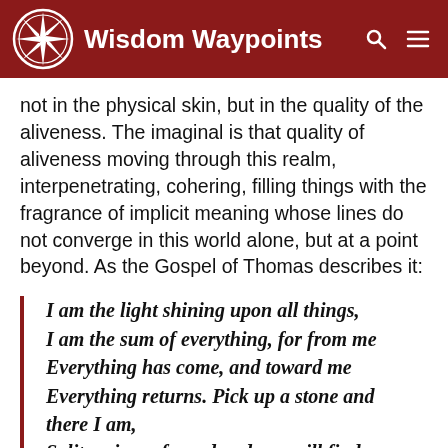Wisdom Waypoints
not in the physical skin, but in the quality of the aliveness. The imaginal is that quality of aliveness moving through this realm, interpenetrating, cohering, filling things with the fragrance of implicit meaning whose lines do not converge in this world alone, but at a point beyond. As the Gospel of Thomas describes it:
I am the light shining upon all things, I am the sum of everything, for from me Everything has come, and toward me Everything returns. Pick up a stone and there I am, Split a piece of wood and you will find me there.